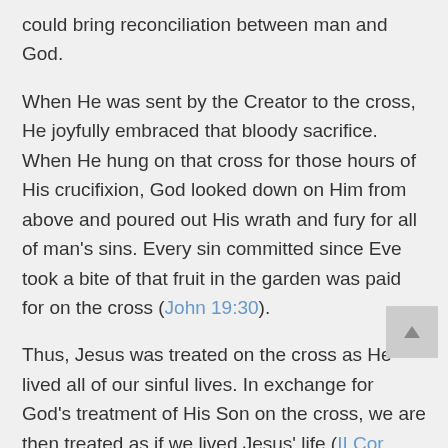could bring reconciliation between man and God.
When He was sent by the Creator to the cross, He joyfully embraced that bloody sacrifice. When He hung on that cross for those hours of His crucifixion, God looked down on Him from above and poured out His wrath and fury for all of man's sins. Every sin committed since Eve took a bite of that fruit in the garden was paid for on the cross (John 19:30).
Thus, Jesus was treated on the cross as He lived all of our sinful lives. In exchange for God's treatment of His Son on the cross, we are then treated as if we lived Jesus' life (II Cor 5:21).
His death brought back the possibility of reconciliation between God and man.
And now, as a result of that Cross-death, we